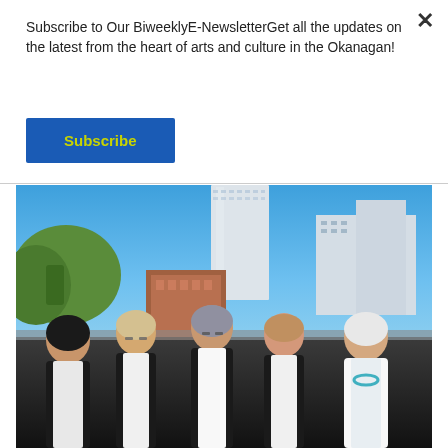Subscribe to Our BiweeklyE-NewsletterGet all the updates on the latest from the heart of arts and culture in the Okanagan!
Subscribe
[Figure (photo): Five women wearing black vests over white shirts standing together outdoors on a rooftop or terrace, with tall modern highrise buildings and blue sky in the background. The setting appears to be Kelowna, BC in the Okanagan region.]